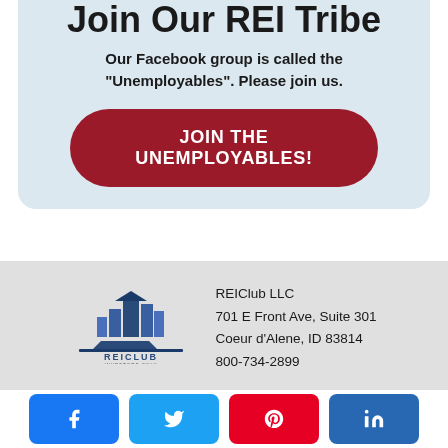Join Our REI Tribe
Our Facebook group is called the "Unemployables". Please join us.
JOIN THE UNEMPLOYABLES!
[Figure (logo): REIClub Investors Only logo]
REIClub LLC
701 E Front Ave, Suite 301
Coeur d'Alene, ID 83814
800-734-2899
Facebook | Twitter | Pinterest | LinkedIn social share buttons